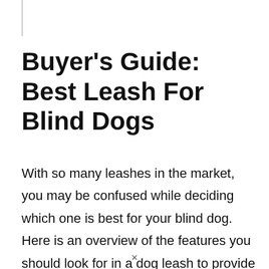Buyer's Guide: Best Leash For Blind Dogs
With so many leashes in the market, you may be confused while deciding which one is best for your blind dog. Here is an overview of the features you should look for in a dog leash to provide a security sense to your blind dog.
×